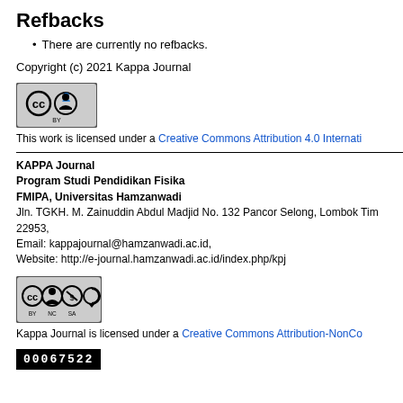Refbacks
There are currently no refbacks.
Copyright (c) 2021 Kappa Journal
[Figure (logo): Creative Commons BY license badge]
This work is licensed under a Creative Commons Attribution 4.0 Internati...
KAPPA Journal
Program Studi Pendidikan Fisika
FMIPA, Universitas Hamzanwadi
Jln. TGKH. M. Zainuddin Abdul Madjid No. 132 Pancor Selong, Lombok Tim... 22953,
Email: kappajournal@hamzanwadi.ac.id,
Website: http://e-journal.hamzanwadi.ac.id/index.php/kpj
[Figure (logo): Creative Commons BY NC SA license badge]
Kappa Journal is licensed under a Creative Commons Attribution-NonCo...
[Figure (other): Barcode: 00067522]